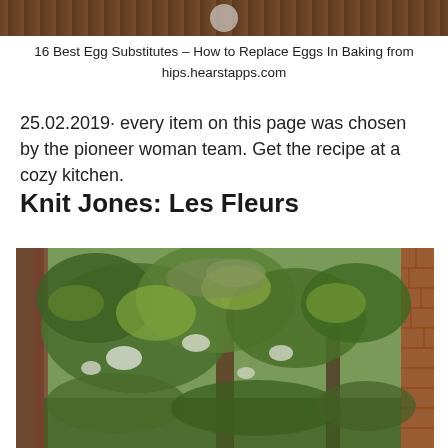[Figure (photo): Top strip showing wooden planks with a white/light round object, cropped image at top of page]
16 Best Egg Substitutes – How to Replace Eggs In Baking from hips.hearstapps.com
25.02.2019· every item on this page was chosen by the pioneer woman team. Get the recipe at a cozy kitchen.
Knit Jones: Les Fleurs
[Figure (photo): Garden scene showing green trees, shrubs, foliage and a brick wall on the right side]